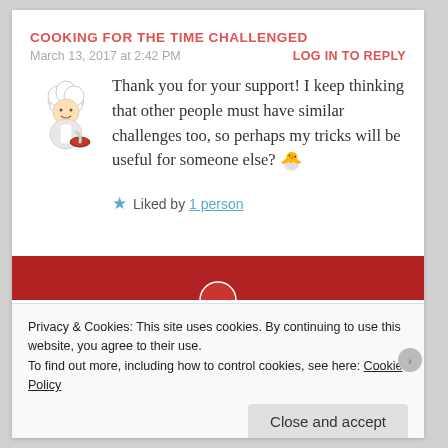COOKING FOR THE TIME CHALLENGED
March 13, 2017 at 2:42 PM
LOG IN TO REPLY
[Figure (illustration): Cartoon chef avatar holding a bowl]
Thank you for your support! I keep thinking that other people must have similar challenges too, so perhaps my tricks will be useful for someone else? 🐣
★ Liked by 1 person
[Figure (photo): Red banner with partial image below the comment]
Privacy & Cookies: This site uses cookies. By continuing to use this website, you agree to their use.
To find out more, including how to control cookies, see here: Cookie Policy
Close and accept